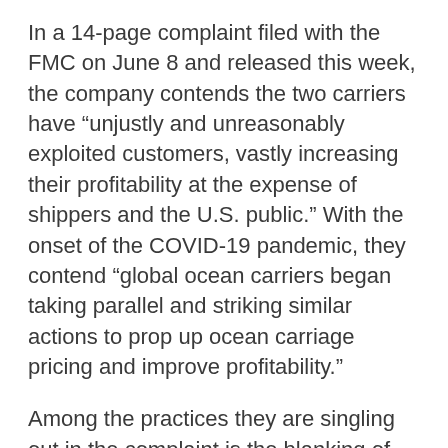In a 14-page complaint filed with the FMC on June 8 and released this week, the company contends the two carriers have “unjustly and unreasonably exploited customers, vastly increasing their profitability at the expense of shippers and the U.S. public.” With the onset of the COVID-19 pandemic, they contend “global ocean carriers began taking parallel and striking similar actions to prop up ocean carriage pricing and improve profitability.”
Among the practices they are singling out in the complaint is the blanking of sailings which they say is designed to